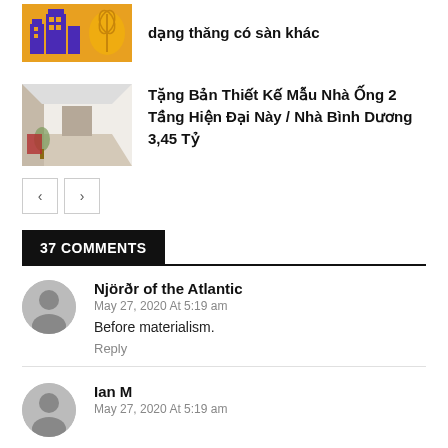[Figure (photo): Partial article thumbnail showing yellow/orange graphic with buildings and wheat icon]
dạng thăng có sàn khác
[Figure (photo): Thumbnail of an interior hallway/corridor of a house]
Tặng Bản Thiết Kế Mẫu Nhà Ống 2 Tầng Hiện Đại Này / Nhà Bình Dương 3,45 Tỷ
< >
37 COMMENTS
[Figure (illustration): Gray avatar silhouette icon for comment user Njörðr of the Atlantic]
Njörðr of the Atlantic
May 27, 2020 At 5:19 am
Before materialism.
Reply
[Figure (illustration): Gray avatar silhouette icon for comment user Ian M]
Ian M
May 27, 2020 At 5:19 am